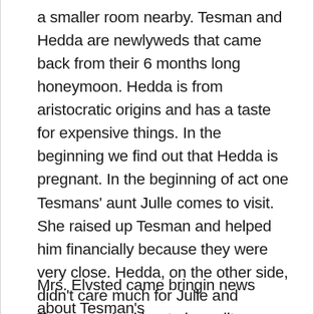a smaller room nearby. Tesman and Hedda are newlyweds that came back from their 6 months long honeymoon. Hedda is from aristocratic origins and has a taste for expensive things. In the beginning we find out that Hedda is pregnant. In the beginning of act one Tesmans' aunt Julle comes to visit. She raised up Tesman and helped him financially because they were very close. Hedda, on the other side, didn't care much for Julle and Tesman asked her to be politer towards her but it is obvious that Hedda doesn't pay attention to his desires.
Mrs. Elvsted came bringin news about Tesman's